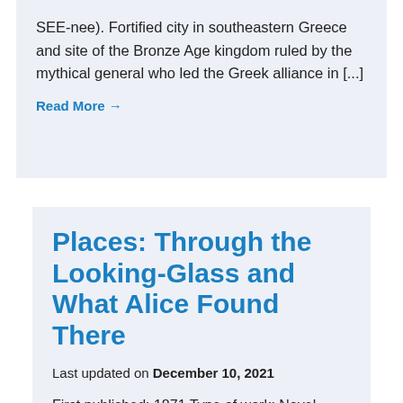SEE-nee). Fortified city in southeastern Greece and site of the Bronze Age kingdom ruled by the mythical general who led the Greek alliance in [...]
Read More →
Places: Through the Looking-Glass and What Alice Found There
Last updated on December 10, 2021
First published: 1871 Type of work: Novel Type of plot: Fantasy Time of work: Nineteenth century Place: Place and Nineteenth...